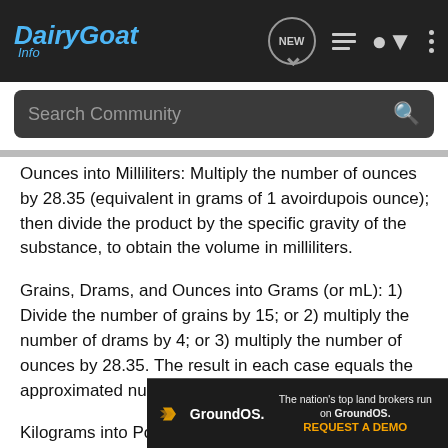DairyGoat Info — Navigation bar with logo, NEW, list, user, and menu icons
Search Community
Ounces into Milliliters: Multiply the number of ounces by 28.35 (equivalent in grams of 1 avoirdupois ounce); then divide the product by the specific gravity of the substance, to obtain the volume in milliliters.
Grains, Drams, and Ounces into Grams (or mL): 1) Divide the number of grains by 15; or 2) multiply the number of drams by 4; or 3) multiply the number of ounces by 28.35. The result in each case equals the approximated number of grams (or mL).
Kilograms into Pounds: Multiply the number of kilograms by 2.2046, or multiply the number of kilograms by 2 and add 10% to the p
[Figure (screenshot): GroundOS advertisement banner: 'The nation's top land brokers run on GroundOS. REQUEST A DEMO']